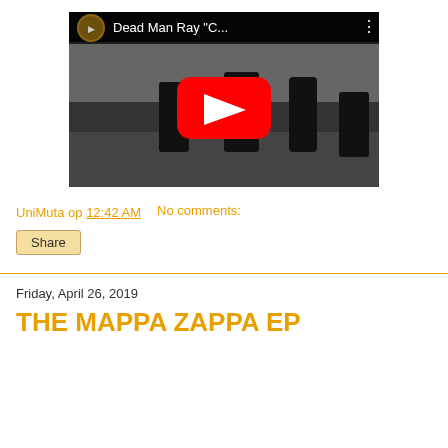[Figure (screenshot): YouTube video thumbnail showing Dead Man Ray 'C...' with a black and white photo of people walking, featuring a red YouTube play button overlay and a circular profile image in the top left corner.]
UniMuta op 12:42 AM    No comments:
Share
Friday, April 26, 2019
THE MAPPA ZAPPA EP